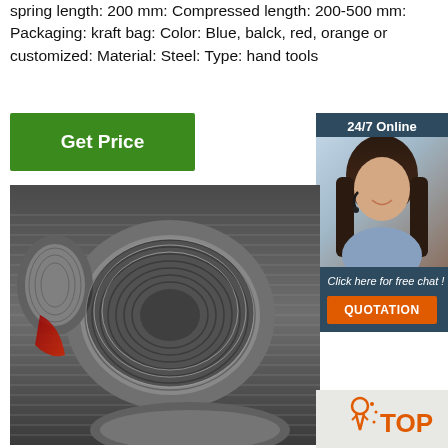spring length: 200 mm: Compressed length: 200-500 mm: Packaging: kraft bag: Color: Blue, balck, red, orange or customized: Material: Steel: Type: hand tools
[Figure (photo): Green 'Get Price' button]
[Figure (photo): Sidebar showing '24/7 Online' banner with a woman wearing a headset, 'Click here for free chat!' text, and an orange QUOTATION button]
[Figure (photo): Large photo of steel wire coils/spools in a warehouse or factory setting]
[Figure (logo): Orange 'TOP' logo with arrow icon at bottom right]